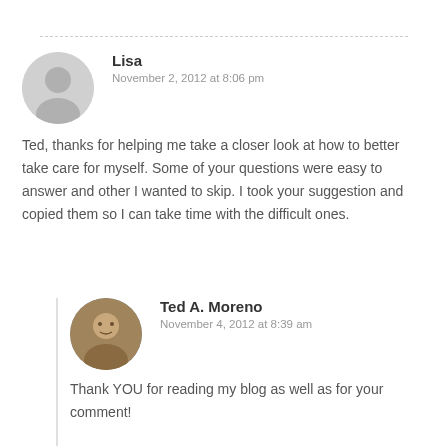Lisa
November 2, 2012 at 8:06 pm
Ted, thanks for helping me take a closer look at how to better take care for myself. Some of your questions were easy to answer and other I wanted to skip. I took your suggestion and copied them so I can take time with the difficult ones.
Ted A. Moreno
November 4, 2012 at 8:39 am
Thank YOU for reading my blog as well as for your comment!